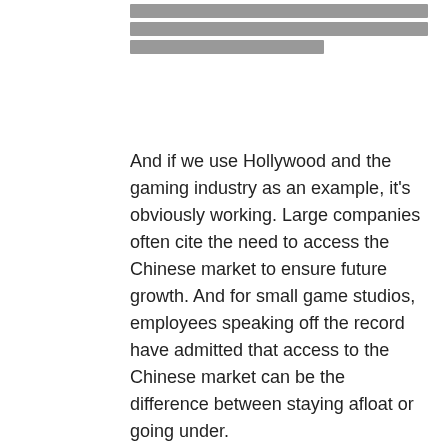[redacted/obscured text lines at top]
And if we use Hollywood and the gaming industry as an example, it's obviously working. Large companies often cite the need to access the Chinese market to ensure future growth. And for small game studios, employees speaking off the record have admitted that access to the Chinese market can be the difference between staying afloat or going under.
[redacted/obscured text lines]
Some would argue that this isn't exclusive to China… and they'd be right. Any nation with enough market power can play the same trick, and some have. And no matter who's doing this, it's a problem. It uses the economy as a weapon to subvert the free will and agency of individuals, and left unchecked it also undermines the sovereignty of nations. Japan is already starting to imitate Chinese